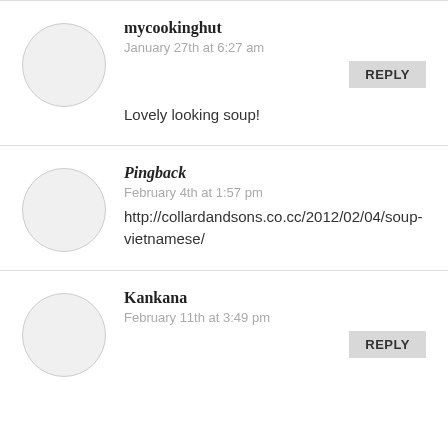mycookinghut
January 27th at 6:27 am
REPLY
Lovely looking soup!
Pingback
February 4th at 1:57 pm
http://collardandsons.co.cc/2012/02/04/soup-vietnamese/
Kankana
February 11th at 3:49 pm
REPLY